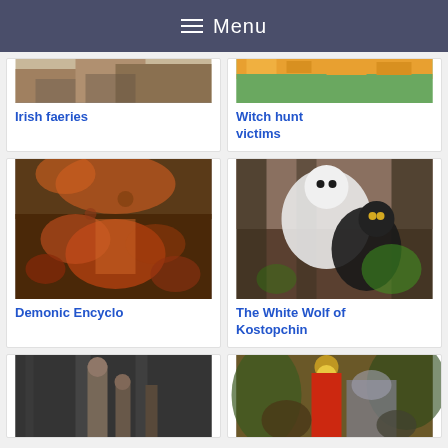Menu
[Figure (illustration): Partial illustration for Irish faeries card, top portion visible]
Irish faeries
[Figure (illustration): Partial illustration for Witch hunt victims card, top portion visible]
Witch hunt victims
[Figure (illustration): Demonic Encyclo illustration showing dramatic scene with monsters and figures]
Demonic Encyclo
[Figure (illustration): The White Wolf of Kostopchin illustration showing white and black wolves in a forest]
The White Wolf of Kostopchin
[Figure (illustration): Bottom row left card, black and white image showing figures in a forest]
[Figure (illustration): Bottom row right card, colorful religious or mythological scene with armored figure]